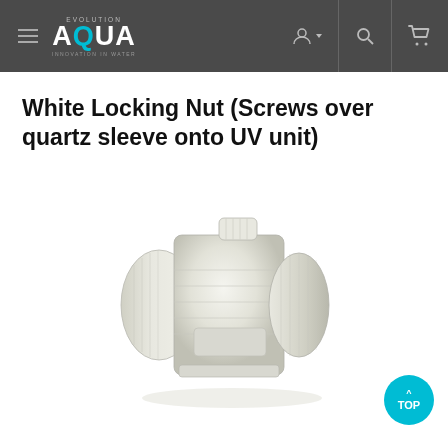Evolution Aqua - Innovation in Water
White Locking Nut (Screws over quartz sleeve onto UV unit)
[Figure (photo): Photo of a white plastic locking nut used to screw over a quartz sleeve onto a UV unit. The nut is cylindrical with threaded ridges and a hexagonal grip section in the middle.]